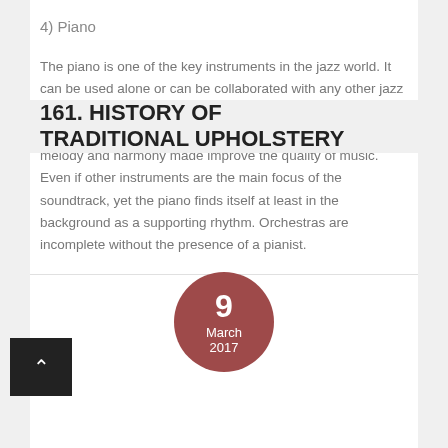4) Piano
The piano is one of the key instruments in the jazz world. It can be used alone or can be collaborated with any other jazz instrument known. The piano has been the base for the majority of jazz tracks that are known to mankind. The melody and harmony made improve the quality of music. Even if other instruments are the main focus of the soundtrack, yet the piano finds itself at least in the background as a supporting rhythm. Orchestras are incomplete without the presence of a pianist.
[Figure (other): Date badge circle showing '9 March 2017' in dark rose/mauve color]
[Figure (other): Black square back/up navigation button with upward caret arrow]
161. HISTORY OF TRADITIONAL UPHOLSTERY